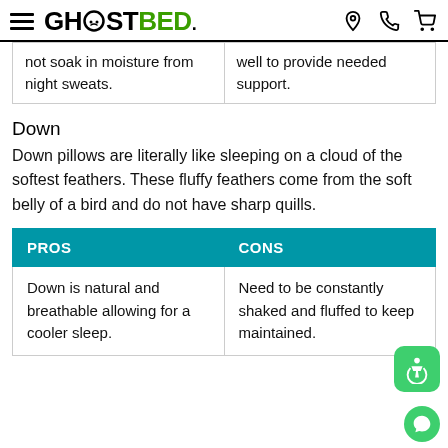GhostBed
| not soak in moisture from night sweats. | well to provide needed support. |
Down
Down pillows are literally like sleeping on a cloud of the softest feathers. These fluffy feathers come from the soft belly of a bird and do not have sharp quills.
| PROS | CONS |
| --- | --- |
| Down is natural and breathable allowing for a cooler sleep. | Need to be constantly shaked and fluffed to keep maintained. |